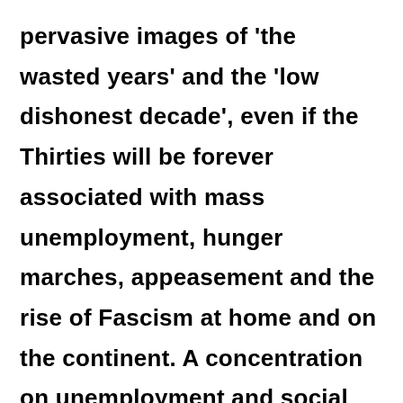pervasive images of 'the wasted years' and the 'low dishonest decade', even if the Thirties will be forever associated with mass unemployment, hunger marches, appeasement and the rise of Fascism at home and on the continent. A concentration on unemployment and social distress does not represent an accurate portrayal of the decade. It